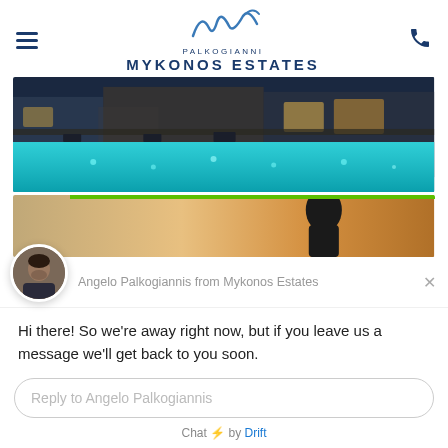PALKOGIANNI MYKONOS ESTATES
[Figure (photo): Night view of luxury villa with illuminated pool and terrace area]
[Figure (photo): Sunset silhouette of a person with warm golden-brown background]
Angelo Palkogiannis from Mykonos Estates
Hi there! So we're away right now, but if you leave us a message we'll get back to you soon.
Reply to Angelo Palkogiannis
Chat ⚡ by Drift